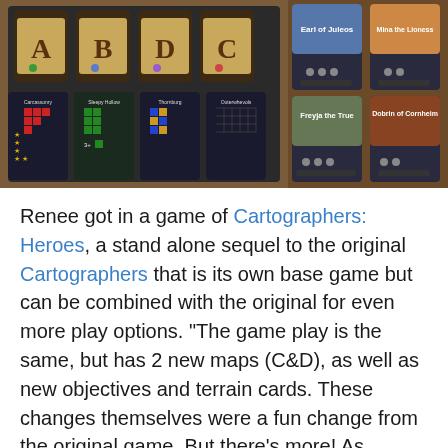[Figure (photo): Two photos side by side showing board game cards from Cartographers: Heroes. Left photo shows terrain scoring cards with letters A, B, D, C on scroll-style cards, and four scoring cards below (Carcassonry, Sleepy Hollow, Thornburg, Outerwhevols) with colored grid patterns. Right photo shows Hero cards including Earl of Juleos, Mina the Lioness, Freyja the True, and Dobrin of Cornheim, which are character portrait cards.]
Renee got in a game of Cartographers: Heroes, a stand alone sequel to the original Cartographers that is its own base game but can be combined with the original for even more play options. "The game play is the same, but has 2 new maps (C&D), as well as new objectives and terrain cards. These changes themselves were a fun change from the original game. But there's more! As implied by the name, there is a new card type: Heroes which can be used to battle those pesky monsters that insist on